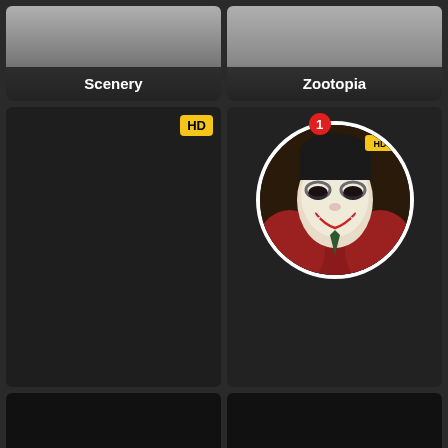[Figure (screenshot): Scenery movie thumbnail with gray gradient background and white label 'Scenery' at bottom]
[Figure (screenshot): Zootopia movie thumbnail with gray gradient background, 'Zootopia' label, notification badge '1', circular Joker avatar with HD badge]
[Figure (screenshot): Space Battleship Yamato Resurrection movie card, dark background, HD badge top right, large left cell]
[Figure (screenshot): Alpha and Omega movie card, dark background, right cell]
[Figure (screenshot): Space Battleship Yamato Resurrection anime image with 720p badge]
[Figure (screenshot): Black thumbnail with 720p badge for Alpha and Omega]